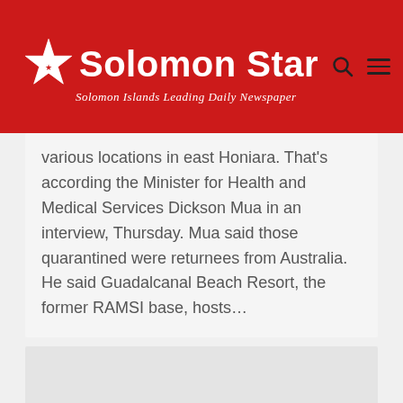Solomon Star — Solomon Islands Leading Daily Newspaper
various locations in east Honiara. That's according the Minister for Health and Medical Services Dickson Mua in an interview, Thursday. Mua said those quarantined were returnees from Australia. He said Guadalcanal Beach Resort, the former RAMSI base, hosts…
[Figure (other): Gray advertisement or placeholder card with scroll-to-top button in bottom right corner]